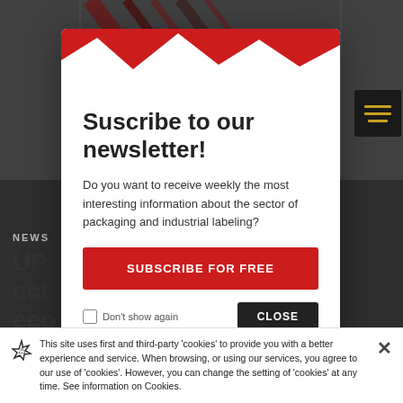[Figure (screenshot): Background webpage with diagonal red/dark stripes image and partial headline text visible behind a newsletter subscription modal overlay]
Suscribe to our newsletter!
Do you want to receive weekly the most interesting information about the sector of packaging and industrial labeling?
SUBSCRIBE FOR FREE
Don't show again
CLOSE
NEWS
UP... act... eco...
This site uses first and third-party 'cookies' to provide you with a better experience and service. When browsing, or using our services, you agree to our use of 'cookies'. However, you can change the setting of 'cookies' at any time. See information on Cookies.